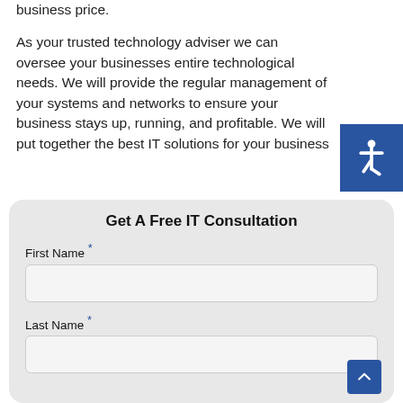business price.
As your trusted technology adviser we can oversee your businesses entire technological needs. We will provide the regular management of your systems and networks to ensure your business stays up, running, and profitable. We will put together the best IT solutions for your business
[Figure (illustration): Blue accessibility icon showing wheelchair user symbol]
Get A Free IT Consultation
First Name *
Last Name *
[Figure (illustration): Blue scroll-to-top button with upward chevron arrow]